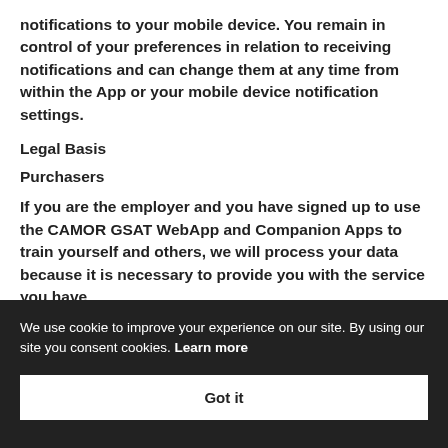notifications to your mobile device. You remain in control of your preferences in relation to receiving notifications and can change them at any time from within the App or your mobile device notification settings.
Legal Basis
Purchasers
If you are the employer and you have signed up to use the CAMOR GSAT WebApp and Companion Apps to train yourself and others, we will process your data because it is necessary to provide you with the service you have
We use cookie to improve your experience on our site. By using our site you consent cookies. Learn more
Got it